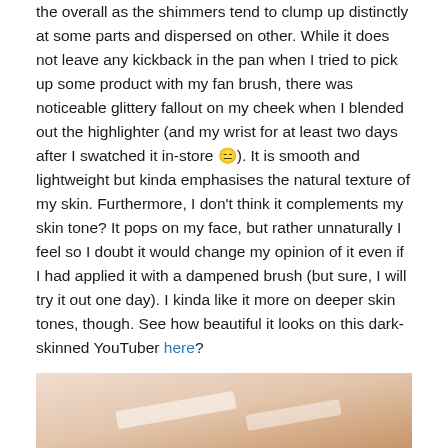the overall as the shimmers tend to clump up distinctly at some parts and dispersed on other. While it does not leave any kickback in the pan when I tried to pick up some product with my fan brush, there was noticeable glittery fallout on my cheek when I blended out the highlighter (and my wrist for at least two days after I swatched it in-store 😑). It is smooth and lightweight but kinda emphasises the natural texture of my skin. Furthermore, I don't think it complements my skin tone? It pops on my face, but rather unnaturally I feel so I doubt it would change my opinion of it even if I had applied it with a dampened brush (but sure, I will try it out one day). I kinda like it more on deeper skin tones, though. See how beautiful it looks on this dark-skinned YouTuber here?
[Figure (photo): A close-up photo of a wrist with highlighter swatches on the skin.]